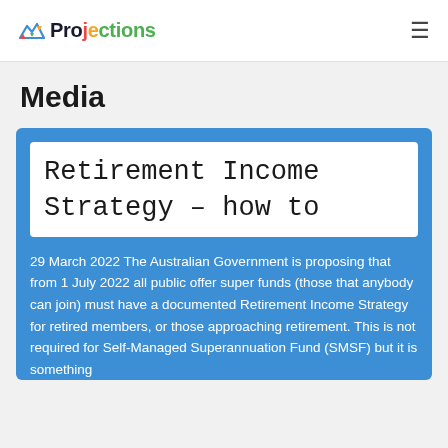Projections
Media
Retirement Income Strategy – how to
29 March 2022 The Australian Government is proposing that from 1 July 2022 all public offer super funds (those that anybody can join) must have a documented Retirement Income Strategy for retired members, or those approaching retirement. This is not required for Self-Managed Superannuation Fund (SMSF) but it is something